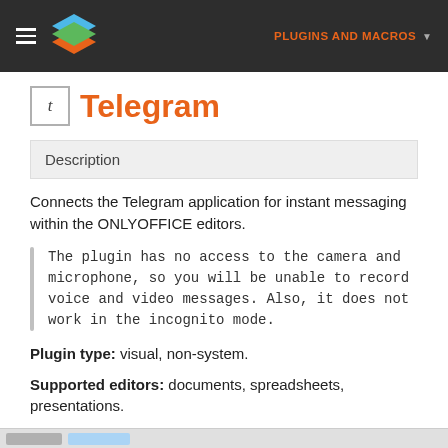PLUGINS AND MACROS
Telegram
Description
Connects the Telegram application for instant messaging within the ONLYOFFICE editors.
The plugin has no access to the camera and microphone, so you will be unable to record voice and video messages. Also, it does not work in the incognito mode.
Plugin type: visual, non-system.
Supported editors: documents, spreadsheets, presentations.
Analogues: Rainbow.
[Figure (screenshot): Screenshot of Telegram plugin in ONLYOFFICE editor]